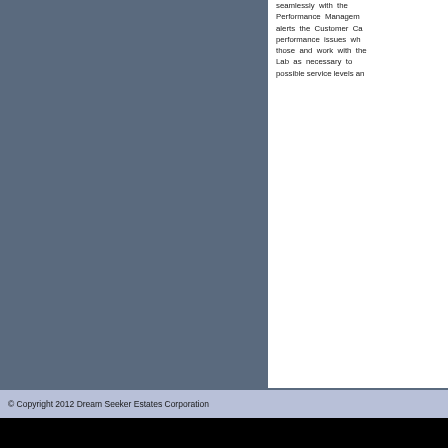seamlessly with the Performance Management alerts the Customer Care performance issues wh those and work with the Lab as necessary to possible service levels an
© Copyright 2012 Dream Seeker Estates Corporation